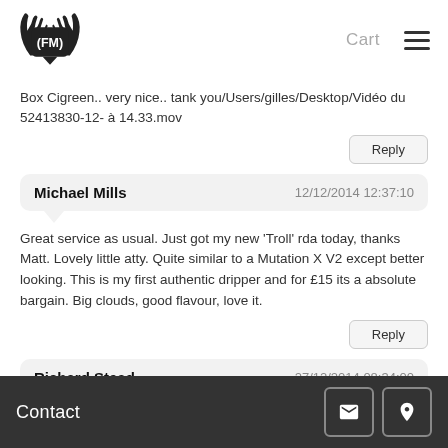FM logo | Cart | Menu
Box Cigreen.. very nice.. tank you/Users/gilles/Desktop/Vidéo du 52413830-12- à 14.33.mov
Reply
Michael Mills   12/12/2014 12:37:10
Great service as usual. Just got my new 'Troll' rda today, thanks Matt. Lovely little atty. Quite similar to a Mutation X V2 except better looking. This is my first authentic dripper and for £15 its a absolute bargain. Big clouds, good flavour, love it.
Reply
Richard Stead   27/12/2014 08:34:00
Contact